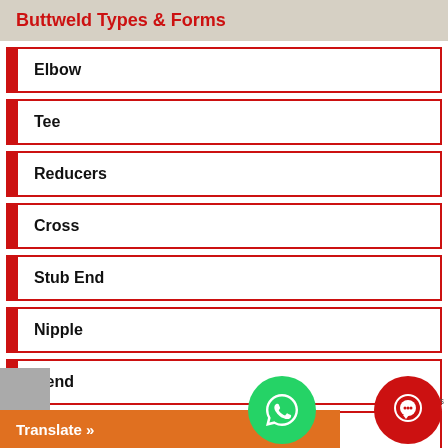Buttweld Types & Forms
Elbow
Tee
Reducers
Cross
Stub End
Nipple
Bend
Pipe Cap